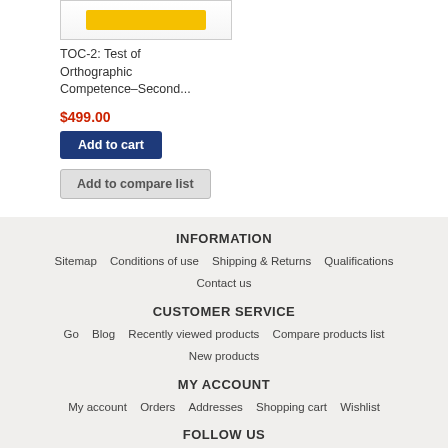[Figure (photo): Product image showing a yellow book/test kit for TOC-2]
TOC-2: Test of Orthographic Competence–Second...
$499.00
Add to cart
Add to compare list
INFORMATION
Sitemap
Conditions of use
Shipping & Returns
Qualifications
Contact us
CUSTOMER SERVICE
Go
Blog
Recently viewed products
Compare products list
New products
MY ACCOUNT
My account
Orders
Addresses
Shopping cart
Wishlist
FOLLOW US